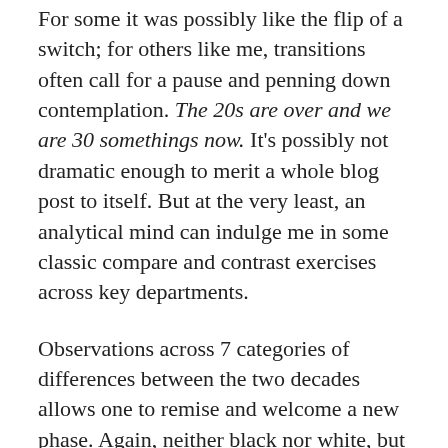For some it was possibly like the flip of a switch; for others like me, transitions often call for a pause and penning down contemplation. The 20s are over and we are 30 somethings now. It's possibly not dramatic enough to merit a whole blog post to itself. But at the very least, an analytical mind can indulge me in some classic compare and contrast exercises across key departments.
Observations across 7 categories of differences between the two decades allows one to remise and welcome a new phase. Again, neither black nor white, but all shades of gray.
1. Careers – What you seek is seeking you. – Rumi